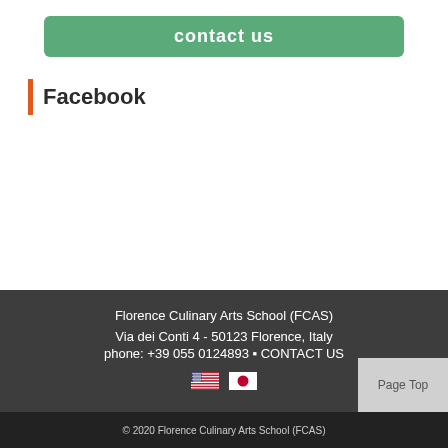contact us
Facebook
Florence Culinary Arts School (FCAS)
Via dei Conti 4 - 50123 Florence, Italy
phone: +39 055 0124893 ▪ CONTACT US
© 2020 Florence Culinary Arts School (FCAS)